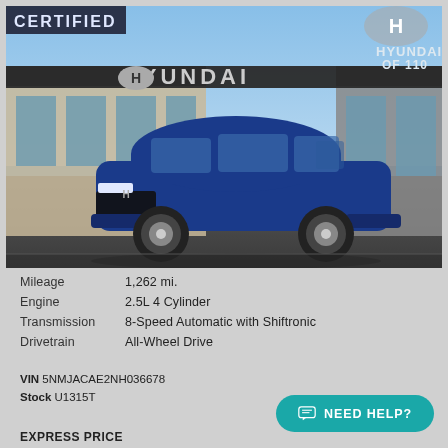[Figure (photo): Blue Hyundai Tucson SUV parked in front of a Hyundai dealership building. The image shows the dealership facade with 'HYUNDAI' signage and a Hyundai logo. Top-left corner has a 'CERTIFIED' banner. Top-right has a Hyundai logo and 'HYUNDAI OF 110' text.]
| Mileage | 1,262 mi. |
| Engine | 2.5L 4 Cylinder |
| Transmission | 8-Speed Automatic with Shiftronic |
| Drivetrain | All-Wheel Drive |
VIN 5NMJACAE2NH036678
Stock U1315T
EXPRESS PRICE
NEED HELP?